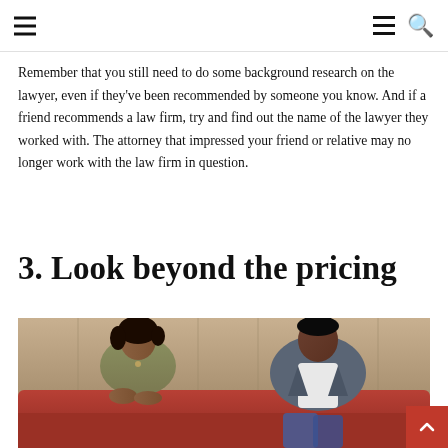[navigation menu and search icon]
Remember that you still need to do some background research on the lawyer, even if they've been recommended by someone you know. And if a friend recommends a law firm, try and find out the name of the lawyer they worked with. The attorney that impressed your friend or relative may no longer work with the law firm in question.
3. Look beyond the pricing
[Figure (photo): A man and woman sitting apart on a leather sofa, suggesting a tense or formal meeting, possibly related to a legal consultation. The woman wears a khaki top and the man wears a grey blazer over a white shirt.]